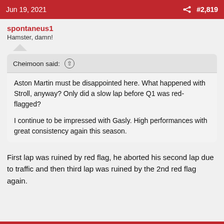Jun 19, 2021  #2,819
spontaneus1
Hamster, damn!
Cheimoon said: ↑
Aston Martin must be disappointed here. What happened with Stroll, anyway? Only did a slow lap before Q1 was red-flagged?

I continue to be impressed with Gasly. High performances with great consistency again this season.
First lap was ruined by red flag, he aborted his second lap due to traffic and then third lap was ruined by the 2nd red flag again.